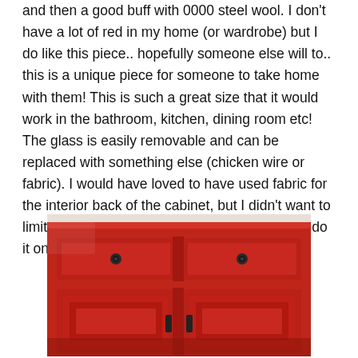and then a good buff with 0000 steel wool. I don't have a lot of red in my home (or wardrobe) but I do like this piece.. hopefully someone else will to.. this is a unique piece for someone to take home with them! This is such a great size that it would work in the bathroom, kitchen, dining room etc! The glass is easily removable and can be replaced with something else (chicken wire or fabric). I would have loved to have used fabric for the interior back of the cabinet, but I didn't want to limit my pool of potential buyers… I'm going to do it on the next buffet though, I promise!
[Figure (photo): A red painted buffet/cabinet with dark metal drawer knobs and cabinet door handles, showing two upper drawers and two lower cabinet doors with raised panel detail.]